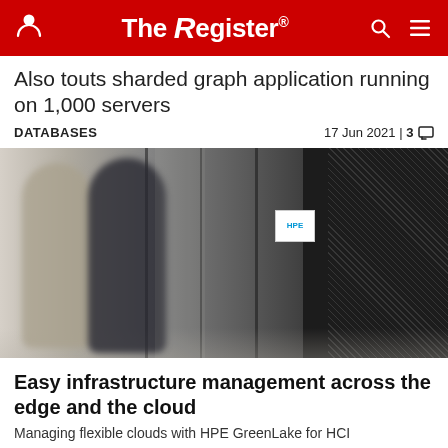The Register
Also touts sharded graph application running on 1,000 servers
DATABASES   17 Jun 2021 | 3
[Figure (photo): Two people walking through a data centre corridor with server racks on both sides]
Easy infrastructure management across the edge and the cloud
Managing flexible clouds with HPE GreenLake for HCI